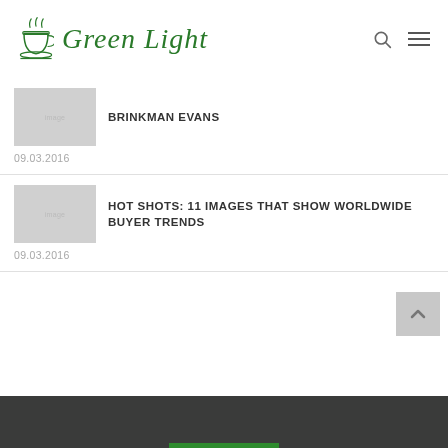Green Light
BRINKMAN EVANS
09.03.2016
HOT SHOTS: 11 IMAGES THAT SHOW WORLDWIDE BUYER TRENDS
09.03.2016